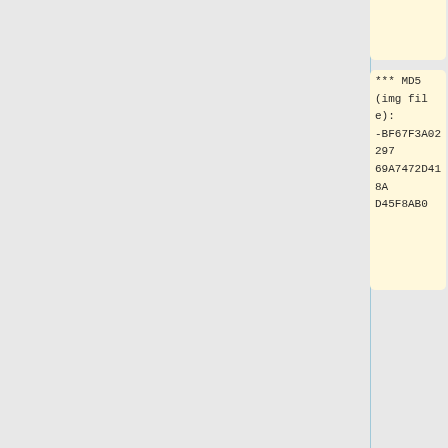hub.com/mrfixit2001/debian_desktop/releases/download/191123/pinebookpro-debian-desktop-mrfixit-191123.img.xz Direct download release build 191123 from mrfixit2001's github]
*** MD5 (img file): -BF67F3A022976 9A7472D418A D45F8AB0